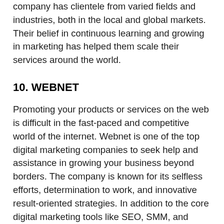company has clientele from varied fields and industries, both in the local and global markets. Their belief in continuous learning and growing in marketing has helped them scale their services around the world.
10. WEBNET
Promoting your products or services on the web is difficult in the fast-paced and competitive world of the internet. Webnet is one of the top digital marketing companies to seek help and assistance in growing your business beyond borders. The company is known for its selfless efforts, determination to work, and innovative result-oriented strategies. In addition to the core digital marketing tools like SEO, SMM, and PPC, the company also boasts expertise in carrying SMS and other web